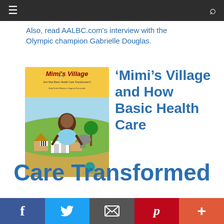≡ [menu icon]   🔍 [search icon]
Also, read AALBC.com's interview with the Olympic champion Gabrielle Douglas.
[Figure (illustration): Book cover of 'Mimi's Village And How Basic Health Care Transformed It' showing an African girl in a village setting with animals, published by CalypsoKid]
'Mimi's Village and How Basic Health Care Transformed It'.
f  [Facebook]   [Twitter]   [Email]   p [Pinterest]   + [More]